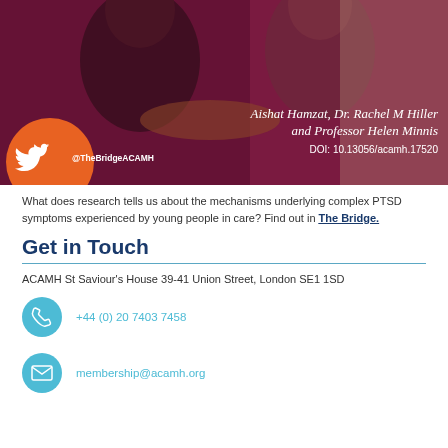[Figure (photo): Banner image with dark maroon/burgundy background showing two people (a man and a woman) in conversation. An orange circle is in the lower left with Twitter bird icon and @TheBridgeACAMH handle. Author names and DOI in white italic text on the right.]
What does research tells us about the mechanisms underlying complex PTSD symptoms experienced by young people in care? Find out in The Bridge.
Get in Touch
ACAMH St Saviour's House 39-41 Union Street, London SE1 1SD
+44 (0) 20 7403 7458
membership@acamh.org